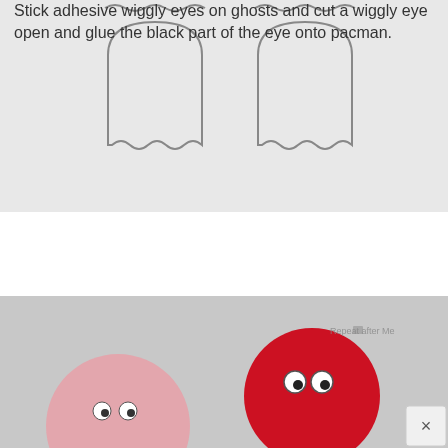[Figure (illustration): Gray background with outlines of two Pac-Man ghost shapes (one smaller at top with wavy bottom, one larger with rounded top and wavy bottom), shown in pairs side by side — templates for cutting.]
Stick adhesive wiggly eyes on ghosts and cut a wiggly eye open and glue the black part of the eye onto pacman.
[Figure (photo): Photo of two red/pink circular Pac-Man characters with googly eyes attached, against a light gray background. Watermark reads 'Repeat after Me'. A close button (×) appears in the bottom right corner.]